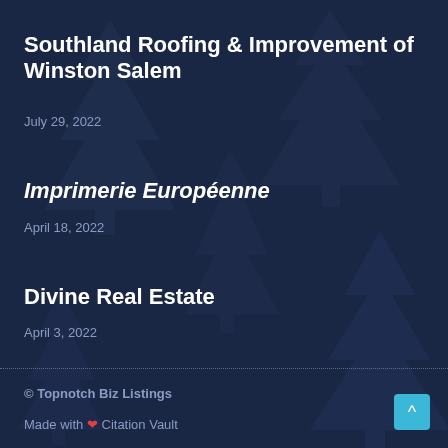[Figure (illustration): Dark navy blue background with silhouette pine/fir tree designs creating a textured pattern across the entire page]
Southland Roofing & Improvement of Winston Salem
July 29, 2022
Imprimerie Européenne
April 18, 2022
Divine Real Estate
April 3, 2022
© Topnotch Biz Listings
Made with ❤ Citation Vault